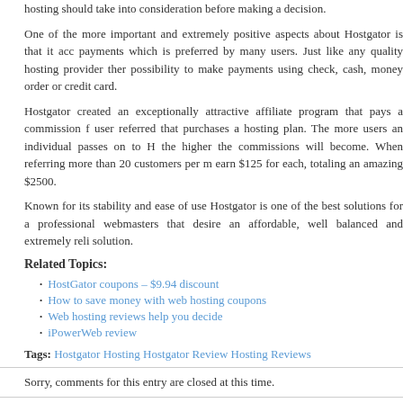hosting should take into consideration before making a decision.
One of the more important and extremely positive aspects about Hostgator is that it accepts PayPal payments which is preferred by many users. Just like any quality hosting provider there is also the possibility to make payments using check, cash, money order or credit card.
Hostgator created an exceptionally attractive affiliate program that pays a commission for every user referred that purchases a hosting plan. The more users an individual passes on to Hostgator, the higher the commissions will become. When referring more than 20 customers per month you can earn $125 for each, totaling an amazing $2500.
Known for its stability and ease of use Hostgator is one of the best solutions for a professional webmasters that desire an affordable, well balanced and extremely reliable hosting solution.
Related Topics:
HostGator coupons – $9.94 discount
How to save money with web hosting coupons
Web hosting reviews help you decide
iPowerWeb review
Tags: Hostgator Hosting Hostgator Review Hosting Reviews
Sorry, comments for this entry are closed at this time.
« Hello world! | AN Hosting Review »
The Web Host Guy is proudly powered by WordPress | Hosting | Entries (RSS) and Comments